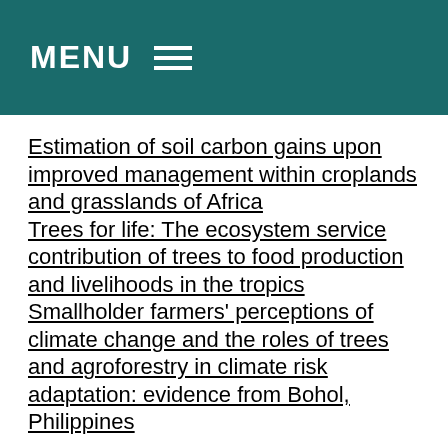MENU
Estimation of soil carbon gains upon improved management within croplands and grasslands of Africa
Trees for life: The ecosystem service contribution of trees to food production and livelihoods in the tropics
Smallholder farmers' perceptions of climate change and the roles of trees and agroforestry in climate risk adaptation: evidence from Bohol, Philippines
Nature based target